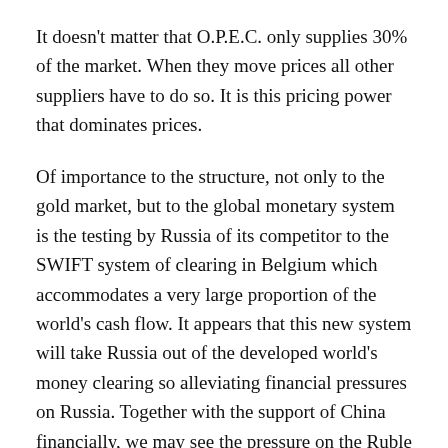It doesn't matter that O.P.E.C. only supplies 30% of the market. When they move prices all other suppliers have to do so. It is this pricing power that dominates prices.
Of importance to the structure, not only to the gold market, but to the global monetary system is the testing by Russia of its competitor to the SWIFT system of clearing in Belgium which accommodates a very large proportion of the world's cash flow. It appears that this new system will take Russia out of the developed world's money clearing so alleviating financial pressures on Russia. Together with the support of China financially, we may see the pressure on the Ruble ease considerably.
What it does imply is that dollar hegemony is being weakened further. This enhances gold's role in the